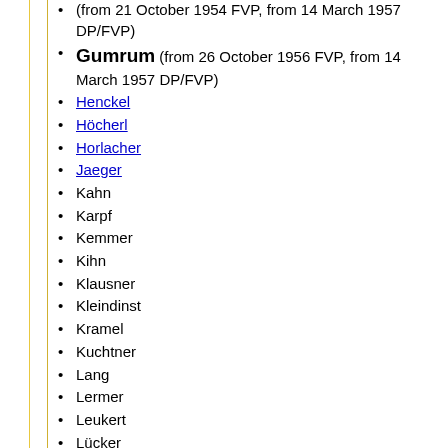(from 21 October 1954 FVP, from 14 March 1957 DP/FVP)
Gumrum (from 26 October 1956 FVP, from 14 March 1957 DP/FVP)
Henckel
Höcherl
Horlacher
Jaeger
Kahn
Karpf
Kemmer
Kihn
Klausner
Kleindinst
Kramel
Kuchtner
Lang
Lermer
Leukert
Lücker
Manteuffel-Szoege
Meyer
Miller
Niederalt
Oesterle
Probst